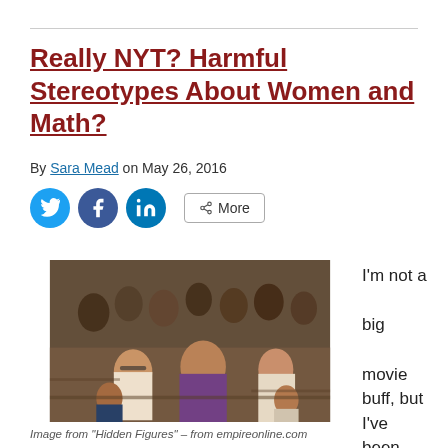Really NYT? Harmful Stereotypes About Women and Math?
By Sara Mead on May 26, 2016
[Figure (photo): Scene from Hidden Figures film showing a group of people seated in what appears to be a church or auditorium, with several women prominently featured in the foreground.]
I'm not a big movie buff, but I've been
Image from "Hidden Figures" – from empireonline.com